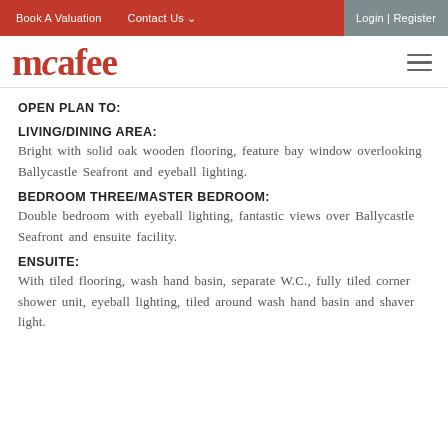Book A Valuation   Contact Us   Login | Register
[Figure (logo): McAfee estate agent logo in red serif font]
OPEN PLAN TO:
LIVING/DINING AREA:
Bright with solid oak wooden flooring, feature bay window overlooking Ballycastle Seafront and eyeball lighting.
BEDROOM THREE/MASTER BEDROOM:
Double bedroom with eyeball lighting, fantastic views over Ballycastle Seafront and ensuite facility.
ENSUITE:
With tiled flooring, wash hand basin, separate W.C., fully tiled corner shower unit, eyeball lighting, tiled around wash hand basin and shaver light.